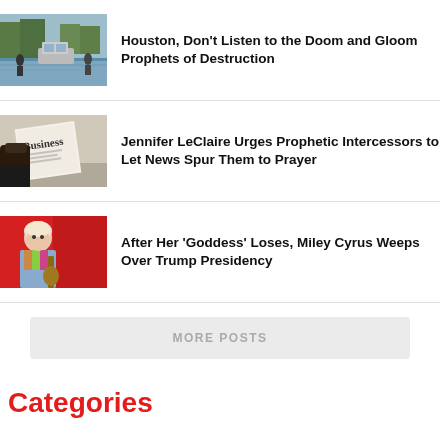[Figure (photo): Flooded street with a car and people wading through water]
Houston, Don't Listen to the Doom and Gloom Prophets of Destruction
[Figure (photo): Person in suit holding a Business newspaper]
Jennifer LeClaire Urges Prophetic Intercessors to Let News Spur Them to Prayer
[Figure (photo): Female pop star in colorful outfit against red background]
After Her ‘Goddess’ Loses, Miley Cyrus Weeps Over Trump Presidency
MORE POSTS
Categories